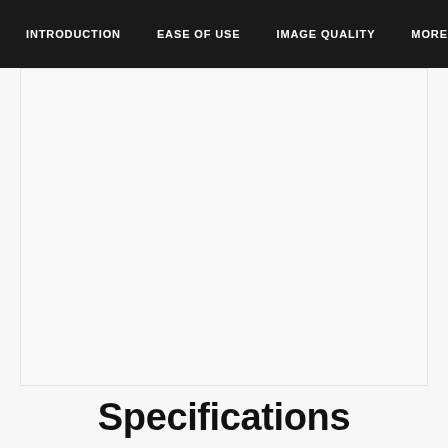INTRODUCTION   EASE OF USE   IMAGE QUALITY   MORE...
[Figure (other): Large white/light gray content area, likely containing an image of a camera or product that is not visible in this crop]
Specifications